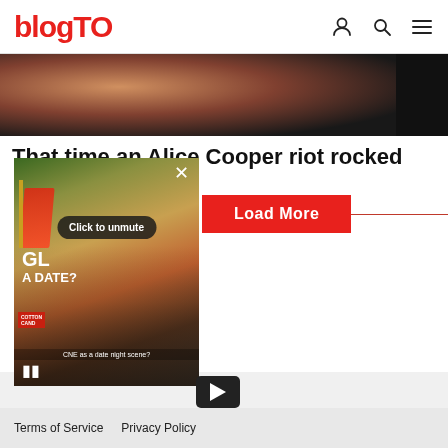blogTO
[Figure (photo): Partial view of people at a concert or event, dark background]
That time an Alice Cooper riot rocked
Click to unmute
[Figure (screenshot): Video overlay showing people at CNE fairground, with GL and A DATE? text, pause button, unmute button]
Load More
[Figure (other): YouTube play button icon]
se   Jobs
Terms of Service   Privacy Policy